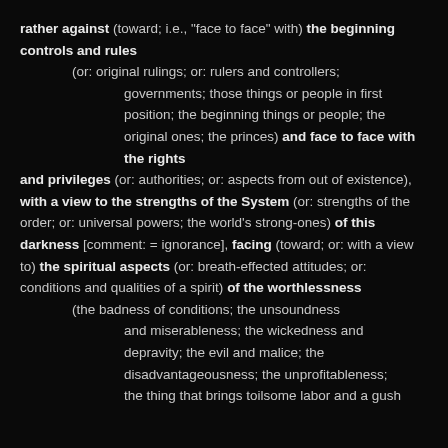rather against (toward; i.e., "face to face" with) the beginning controls and rules (or: original rulings; or: rulers and controllers; governments; those things or people in first position; the beginning things or people; the original ones; the princes) and face to face with the rights and privileges (or: authorities; or: aspects from out of existence), with a view to the strengths of the System (or: strengths of the order; or: universal powers; the world's strong-ones) of this darkness [comment: = ignorance], facing (toward; or: with a view to) the spiritual aspects (or: breath-effected attitudes; or: conditions and qualities of a spirit) of the worthlessness (the badness of conditions; the unsoundness and miserableness; the wickedness and depravity; the evil and malice; the disadvantageousness; the unprofitableness; the thing that brings toilsome labor and a gush